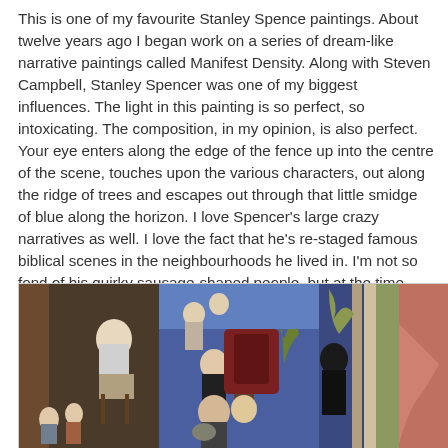This is one of my favourite Stanley Spence paintings. About twelve years ago I began work on a series of dream-like narrative paintings called Manifest Density. Along with Steven Campbell, Stanley Spencer was one of my biggest influences. The light in this painting is so perfect, so intoxicating. The composition, in my opinion, is also perfect. Your eye enters along the edge of the fence up into the centre of the scene, touches upon the various characters, out along the ridge of trees and escapes out through that little smidge of blue along the horizon. I love Spencer's large crazy narratives as well. I love the fact that he's re-staged famous biblical scenes in the neighbourhoods he lived in. I'm not so fond of his quirky sausage-shaped people, but at the time, was inspired by his attempts to go beyond classical figuration to create something personal and eccentric.
[Figure (photo): A Stanley Spencer painting showing multiple figures in a busy narrative scene with blue tones, architectural elements, and various characters including people sitting, standing, and interacting. The painting has a complex composition with multiple panels or sections.]